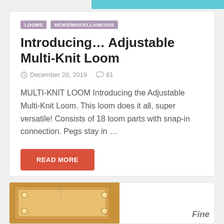[Figure (photo): Partial teal/cyan colored image at top right corner]
LOOMS
NEWS/MISCELLANEOUS
Introducing… Adjustable Multi-Knit Loom
December 20, 2019   61
MULTI-KNIT LOOM Introducing the Adjustable Multi-Knit Loom. This loom does it all, super versatile! Consists of 18 loom parts with snap-in connection. Pegs stay in …
READ MORE
[Figure (photo): Partial image of a wooden loom with pegs, bottom of page, partially visible with text 'Fine' at bottom right]